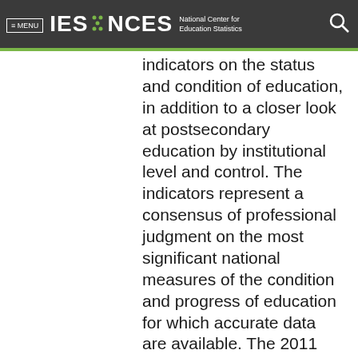≡ MENU  IES · NCES National Center for Education Statistics
indicators on the status and condition of education, in addition to a closer look at postsecondary education by institutional level and control. The indicators represent a consensus of professional judgment on the most significant national measures of the condition and progress of education for which accurate data are available. The 2011 print edition